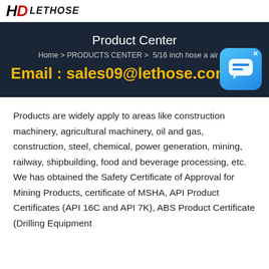HD [logo]
Product Center
Home > PRODUCTS CENTER >  5/16 inch hose a air 3/4
Email : sales09@lethose.com
[Figure (illustration): Blue chat bubble icon with an X close button in the top right corner]
Products are widely apply to areas like construction machinery, agricultural machinery, oil and gas, construction, steel, chemical, power generation, mining, railway, shipbuilding, food and beverage processing, etc. We has obtained the Safety Certificate of Approval for Mining Products, certificate of MSHA, API Product Certificates (API 16C and API 7K), ABS Product Certificate (Drilling Equipment